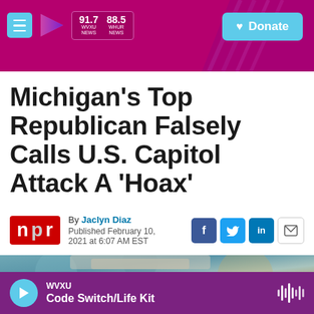91.7 WVXU NEWS  88.5 WHUR NEWS  Donate
Michigan's Top Republican Falsely Calls U.S. Capitol Attack A 'Hoax'
By Jaclyn Diaz
Published February 10, 2021 at 6:07 AM EST
[Figure (photo): Partial photo of a person with grey/white hair against a blue decorative background]
WVXU
Code Switch/Life Kit